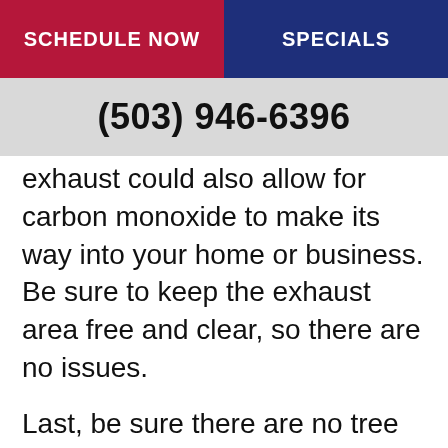SCHEDULE NOW | SPECIALS
(503) 946-6396
exhaust could also allow for carbon monoxide to make its way into your home or business. Be sure to keep the exhaust area free and clear, so there are no issues.
Last, be sure there are no tree branches near the furnace unit. While the branches might look harmless, they could be dangerous if snow or ice